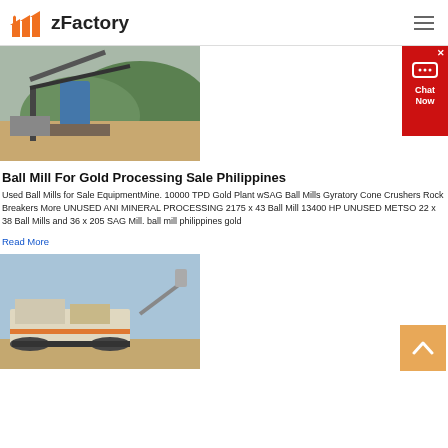zFactory
[Figure (photo): Mining site with conveyor belt, machinery and hills in background]
Ball Mill For Gold Processing Sale Philippines
Used Ball Mills for Sale EquipmentMine. 10000 TPD Gold Plant wSAG Ball Mills Gyratory Cone Crushers Rock Breakers More UNUSED ANI MINERAL PROCESSING 2175 x 43 Ball Mill 13400 HP UNUSED METSO 22 x 38 Ball Mills and 36 x 205 SAG Mill. ball mill philippines gold
Read More
[Figure (photo): Mobile crushing/mining equipment on tracks at a construction or mining site]